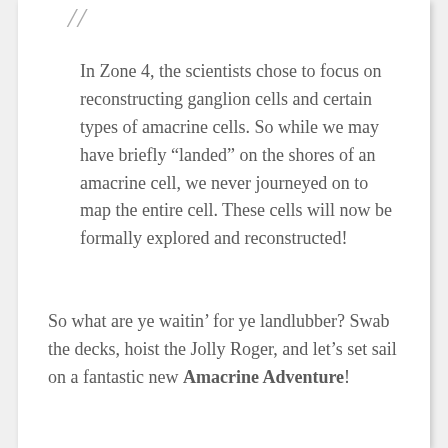In Zone 4, the scientists chose to focus on reconstructing ganglion cells and certain types of amacrine cells. So while we may have briefly “landed” on the shores of an amacrine cell, we never journeyed on to map the entire cell. These cells will now be formally explored and reconstructed!
So what are ye waitin’ for ye landlubber? Swab the decks, hoist the Jolly Roger, and let’s set sail on a fantastic new Amacrine Adventure!